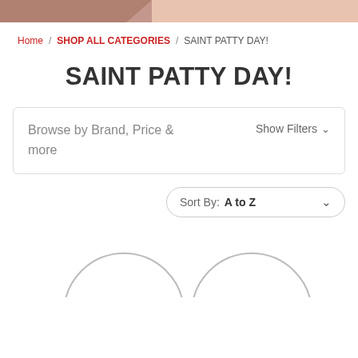[Figure (illustration): Top banner image strip with warm peachy/brown tones]
Home / SHOP ALL CATEGORIES / SAINT PATTY DAY!
SAINT PATTY DAY!
Browse by Brand, Price & more   Show Filters
Sort By: A to Z
[Figure (illustration): Two partial circular product image placeholders at bottom of page]